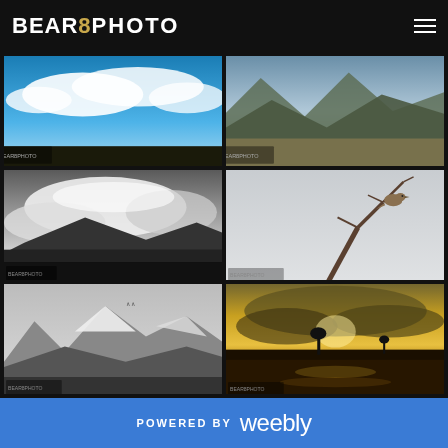[Figure (logo): BEAR8PHOTO logo in white and gold on black background]
[Figure (photo): Blue sky with clouds and landscape, color photograph]
[Figure (photo): Mountain landscape with dramatic clouds, color photograph]
[Figure (photo): Black and white dramatic cloudy sky over wetland landscape]
[Figure (photo): Bird perched on bare tree branches against pale sky, color photograph]
[Figure (photo): Black and white mountain peaks with snow]
[Figure (photo): Golden sunset over wetland with silhouetted trees and water reflections]
POWERED BY weebly